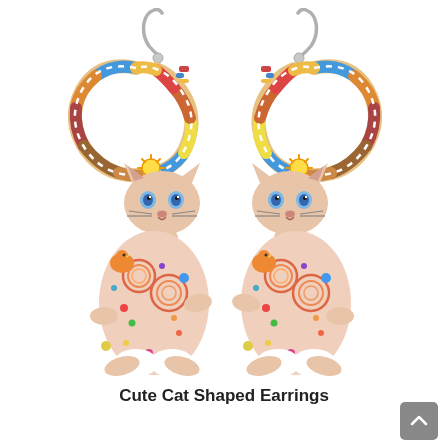[Figure (photo): Two colorful cat-shaped dangle earrings with silver fish-hook wires. Each earring features a pink cat body decorated with multicolored polka dots and swirl patterns, blue eyes, a curled tail forming a loop with colorful striped pattern, displayed side by side on white background.]
Cute Cat Shaped Earrings